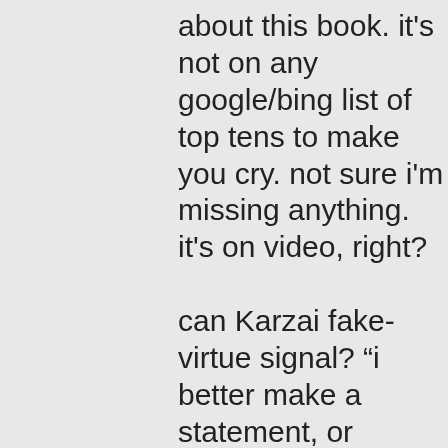about this book. it's not on any google/bing list of top tens to make you cry. not sure i'm missing anything. it's on video, right?

can Karzai fake-virtue signal? “i better make a statement, or somebody might shoot me!” yes, of course he can & screw him but he’s got more at stake than some, or did. I